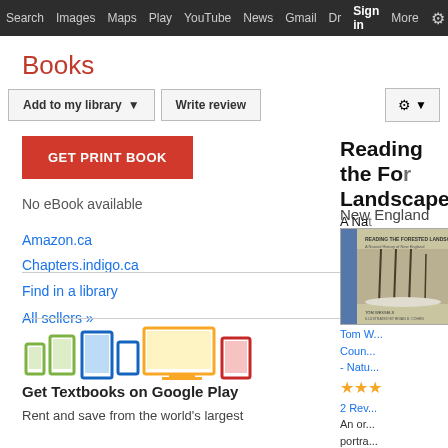Search  Images  Maps  Play  YouTube  News  Gmail  Dr  Sign in  More  ⚙
Books
Add to my library ▼   Write review   ⚙ ▼
GET PRINT BOOK
No eBook available
Amazon.ca
Chapters.indigo.ca
Find in a library
All sellers »
Get Textbooks on Google Play
Rent and save from the world's largest
[Figure (screenshot): Google Books page showing book listing for 'Reading the Forested Landscape: A Natural History of New England' with book cover image, star ratings, and device icons for Google Play textbooks]
Reading the Forested Landscape:  A Natural History of New England
Tom W...
Coun...
- Natu...
★★★
2 Rev...
An or...
portra...
New
Engla...
More